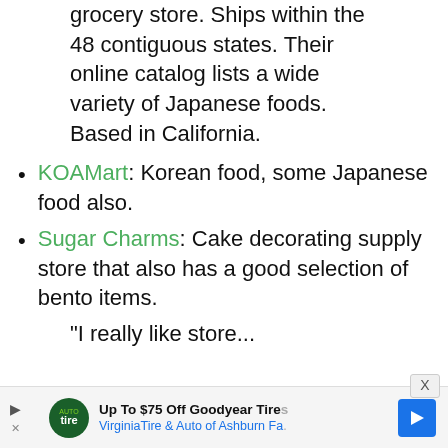grocery store. Ships within the 48 contiguous states. Their online catalog lists a wide variety of Japanese foods. Based in California.
KOAMart: Korean food, some Japanese food also.
Sugar Charms: Cake decorating supply store that also has a good selection of bento items.
"I really like...
[Figure (screenshot): Advertisement banner: 'Up To $75 Off Goodyear Tires - VirginiaTire & Auto of Ashburn Fa...' with logo and navigation arrow icon]